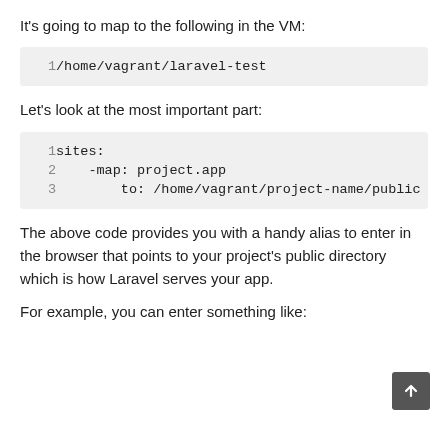It's going to map to the following in the VM:
1   /home/vagrant/laravel-test
Let's look at the most important part:
1  sites:
2      -map: project.app
3          to: /home/vagrant/project-name/public
The above code provides you with a handy alias to enter in the browser that points to your project's public directory which is how Laravel serves your app.
For example, you can enter something like: